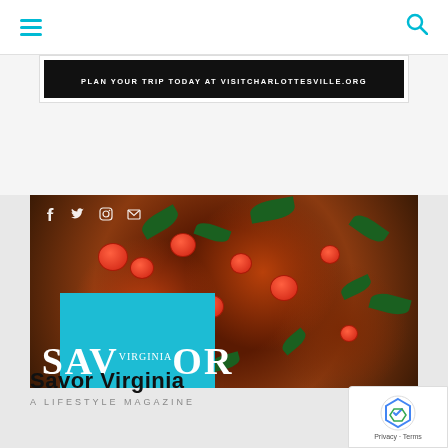Navigation header with hamburger menu and search icon
[Figure (screenshot): Advertisement banner with dark background reading: PLAN YOUR TRIP TODAY AT VISITCHARLOTTESVILLE.ORG]
[Figure (photo): Close-up photo of a pizza with cherry tomatoes, basil leaves, and melted cheese. Social media icons (Facebook, Twitter, Instagram, Email) overlaid in white at top-left. Savor Virginia teal logo overlaid at bottom-left.]
Savor Virginia
A LIFESTYLE MAGAZINE